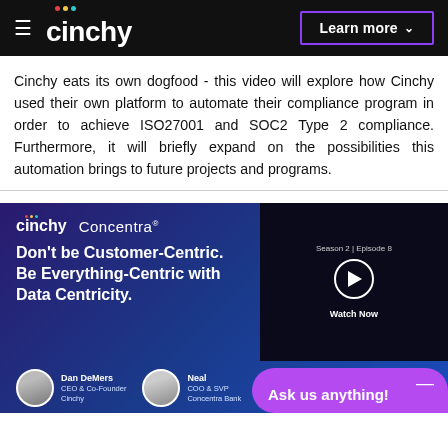[Figure (screenshot): Cinchy website navigation bar with hamburger menu, Cinchy logo with colored dots, and 'Learn more' button with purple border]
Cinchy eats its own dogfood - this video will explore how Cinchy used their own platform to automate their compliance program in order to achieve ISO27001 and SOC2 Type 2 compliance. Furthermore, it will briefly expand on the possibilities this automation brings to future projects and programs.
[Figure (screenshot): Cinchy and Concentra co-branded webinar card with headline 'Don't be Customer-Centric. Be Everything-Centric with Data Centricity.' Season 2 Episode 8 video thumbnail, Dan DeMers CEO & Co-Founder Cinchy and Neal COO & SVP Concentra Bank, and a purple 'Ask us anything!' chat bubble overlay.]